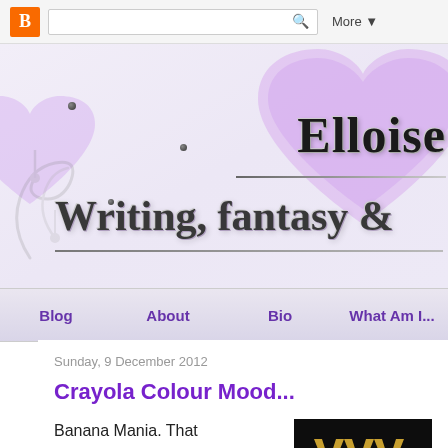[Figure (screenshot): Blogger navbar with orange B logo, search box, and More dropdown]
[Figure (illustration): Blog header with purple hearts, decorative dots, swirl art, bold title 'Elloise' and subtitle 'Writing, fantasy &']
Blog | About | Bio | What Am I...
Sunday, 9 December 2012
Crayola Colour Mood...
Banana Mania. That
[Figure (photo): Dark image with gold/yellow chevron or W shapes on black background]